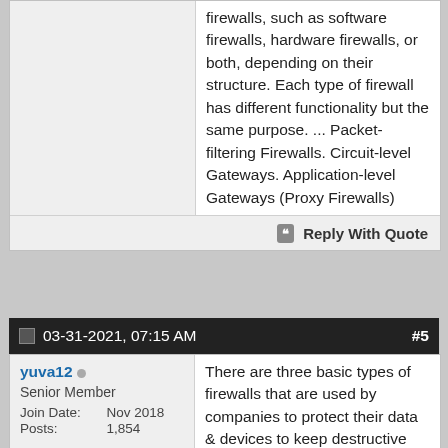firewalls, such as software firewalls, hardware firewalls, or both, depending on their structure. Each type of firewall has different functionality but the same purpose. ... Packet-filtering Firewalls. Circuit-level Gateways. Application-level Gateways (Proxy Firewalls)
Reply With Quote
03-31-2021, 07:15 AM  #5
yuva12  Senior Member  Join Date: Nov 2018  Posts: 1,854
There are three basic types of firewalls that are used by companies to protect their data & devices to keep destructive elements out of